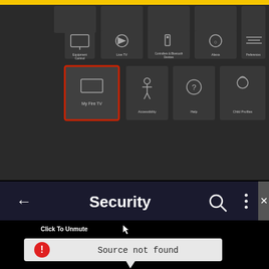[Figure (screenshot): Amazon Fire TV Settings screen showing menu items: Equipment Control, Live TV, Controllers & Bluetooth Devices, Alexa, Preferences, My Fire TV (selected with red border), Accessibility, Help, Child Profiles. Yellow border at top.]
[Figure (screenshot): Security screen header on dark background with back arrow, Security title, search icon, and vertical dots menu icon. Partial X button visible at right edge.]
[Figure (screenshot): Black video player area with 'Click To Unmute' text and cursor icon, and a gray tooltip/speech bubble showing a red error circle icon with 'Source not found' message.]